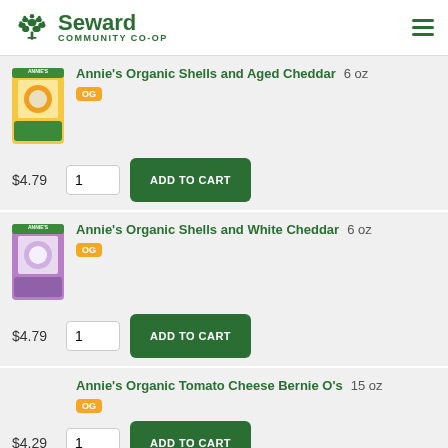Seward Community Co-op
Annie's Organic Shells and Aged Cheddar 6 oz OG $4.79 1 ADD TO CART
Annie's Organic Shells and White Cheddar 6 oz OG $4.79 1 ADD TO CART
Annie's Organic Tomato Cheese Bernie O's 15 oz OG $4.29 1 ADD TO CART